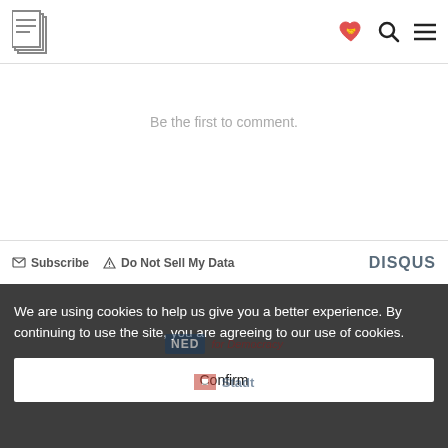Evolve logo, heart/handshake icon, search icon, menu icon
Be the first to comment.
Subscribe   Do Not Sell My Data   DISQUS
We are using cookies to help us give you a better experience. By continuing to use the site, you are agreeing to our use of cookies.
Confirm